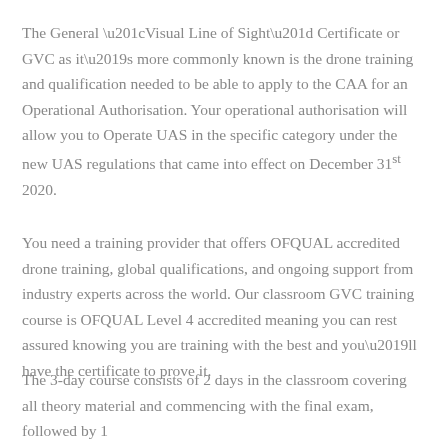The General “Visual Line of Sight” Certificate or GVC as it’s more commonly known is the drone training and qualification needed to be able to apply to the CAA for an Operational Authorisation. Your operational authorisation will allow you to Operate UAS in the specific category under the new UAS regulations that came into effect on December 31st 2020.
You need a training provider that offers OFQUAL accredited drone training, global qualifications, and ongoing support from industry experts across the world. Our classroom GVC training course is OFQUAL Level 4 accredited meaning you can rest assured knowing you are training with the best and you’ll have the certificate to prove it.
The 3-day course consists of 2 days in the classroom covering all theory material and commencing with the final exam, followed by 1